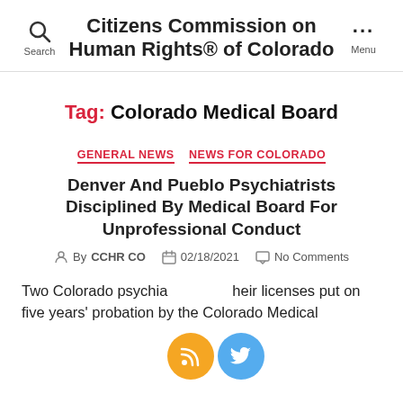Citizens Commission on Human Rights® of Colorado
Tag: Colorado Medical Board
GENERAL NEWS  NEWS FOR COLORADO
Denver And Pueblo Psychiatrists Disciplined By Medical Board For Unprofessional Conduct
By CCHR CO  02/18/2021  No Comments
Two Colorado psychia... h their licenses put on five years' probation by the Colorado Medical